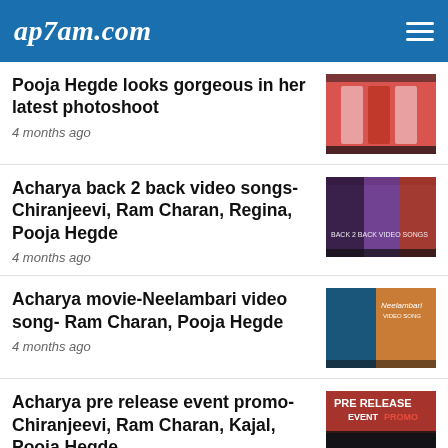ap7am.com
Pooja Hegde looks gorgeous in her latest photoshoot
4 months ago
Acharya back 2 back video songs- Chiranjeevi, Ram Charan, Regina, Pooja Hegde
4 months ago
Acharya movie-Neelambari video song- Ram Charan, Pooja Hegde
4 months ago
Acharya pre release event promo- Chiranjeevi, Ram Charan, Kajal, Pooja Hegde